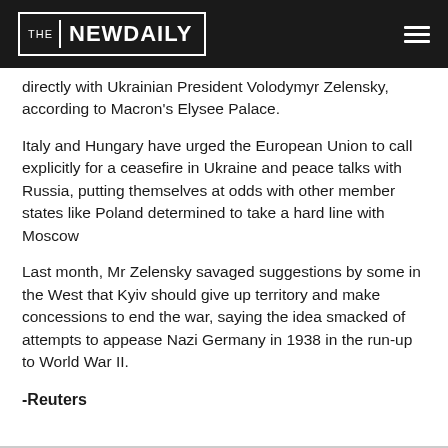THE NEW DAILY
directly with Ukrainian President Volodymyr Zelensky, according to Macron's Elysee Palace.
Italy and Hungary have urged the European Union to call explicitly for a ceasefire in Ukraine and peace talks with Russia, putting themselves at odds with other member states like Poland determined to take a hard line with Moscow
Last month, Mr Zelensky savaged suggestions by some in the West that Kyiv should give up territory and make concessions to end the war, saying the idea smacked of attempts to appease Nazi Germany in 1938 in the run-up to World War II.
-Reuters